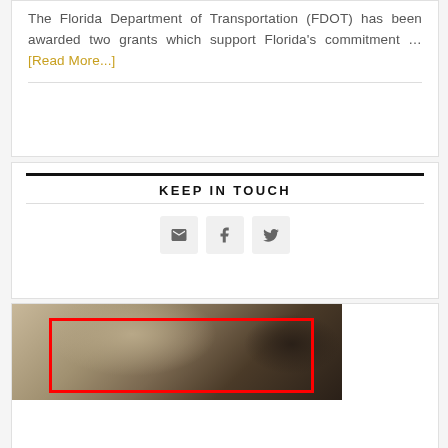The Florida Department of Transportation (FDOT) has been awarded two grants which support Florida's commitment … [Read More...]
KEEP IN TOUCH
[Figure (illustration): Three social media icon buttons: email/envelope, Facebook (f), and Twitter (bird icon), arranged in a horizontal row on light gray square buttons.]
[Figure (photo): A close-up photo of a person with curly/wavy hair, with a red rectangle overlay drawn around the face/upper head area. A second person with dark hair is visible to the right.]